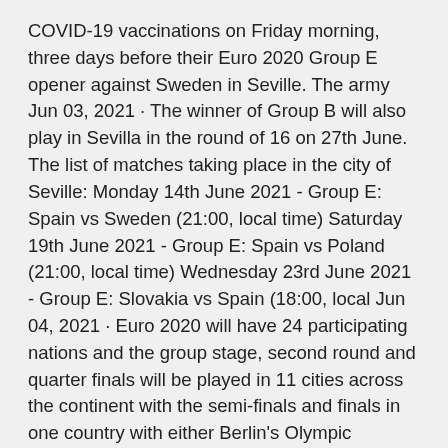COVID-19 vaccinations on Friday morning, three days before their Euro 2020 Group E opener against Sweden in Seville. The army Jun 03, 2021 · The winner of Group B will also play in Sevilla in the round of 16 on 27th June. The list of matches taking place in the city of Seville: Monday 14th June 2021 - Group E: Spain vs Sweden (21:00, local time) Saturday 19th June 2021 - Group E: Spain vs Poland (21:00, local time) Wednesday 23rd June 2021 - Group E: Slovakia vs Spain (18:00, local Jun 04, 2021 · Euro 2020 will have 24 participating nations and the group stage, second round and quarter finals will be played in 11 cities across the continent with the semi-finals and finals in one country with either Berlin's Olympic Stadium, Munich's Allianz Arena or London's Wembley Stadium looking likely venues. See full list on pitchinvasion.net See full list on en.as.com